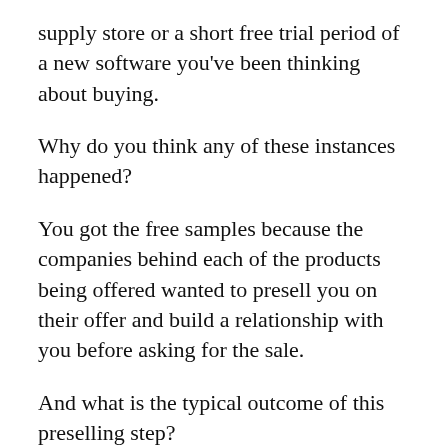supply store or a short free trial period of a new software you've been thinking about buying.
Why do you think any of these instances happened?
You got the free samples because the companies behind each of the products being offered wanted to presell you on their offer and build a relationship with you before asking for the sale.
And what is the typical outcome of this preselling step?
What happens more often than not, is that if you enjoy the product you actually end up buying it and you'll likely continue to patronize its creators as long